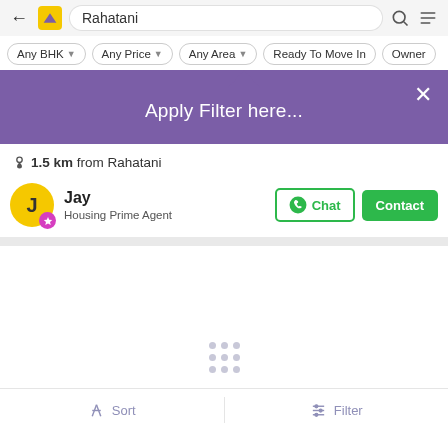[Figure (screenshot): Mobile app screenshot of a real estate search page for 'Rahatani' with navigation bar, filter chips, purple tooltip saying 'Apply Filter here...', location row, agent card for Jay (Housing Prime Agent), and bottom sort/filter bar.]
Rahatani
Any BHK
Any Price
Any Area
Ready To Move In
Owner
Apply Filter here...
1.5 km from Rahatani
Jay
Housing Prime Agent
Chat
Contact
Sort
Filter